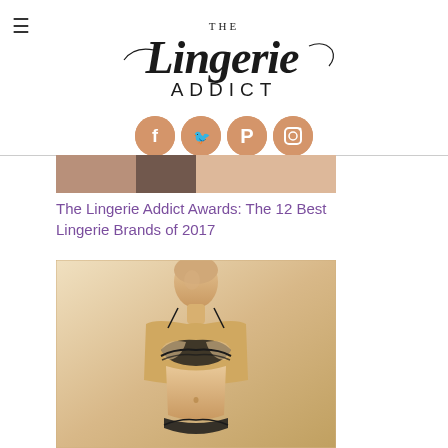[Figure (logo): The Lingerie Addict logo with script font and hamburger menu icon]
[Figure (infographic): Social media icons: Facebook, Twitter, Pinterest, Instagram - peach/salmon colored circles]
[Figure (photo): Partial image strip at top showing lingerie/fashion content]
The Lingerie Addict Awards: The 12 Best Lingerie Brands of 2017
[Figure (photo): Black and white/sepia toned fashion photo of a model wearing black lace lingerie bra and matching underwear, cropped to show torso and face]